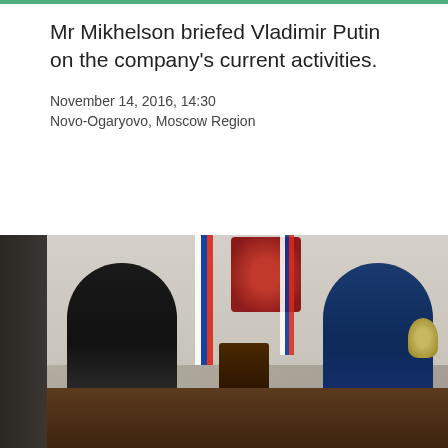Mr Mikhelson briefed Vladimir Putin on the company's current activities.
November 14, 2016, 14:30
Novo-Ogaryovo, Moscow Region
[Figure (photo): Photo of two men seated across a large wooden table in a formal meeting room. The man on the left wears a dark suit and is smiling. The man on the right wears a dark blue suit. Behind them are two Russian flags flanking a Russian coat of arms on the wall.]